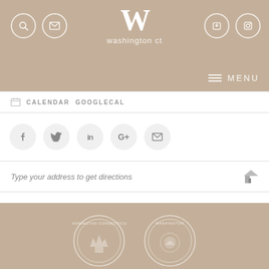washington ct
CALENDAR  GOOGLECAL
[Figure (screenshot): Social share buttons: Facebook, Twitter, LinkedIn, Google+, Email]
Type your address to get directions
[Figure (logo): Washington Connecticut town seal logos in footer]